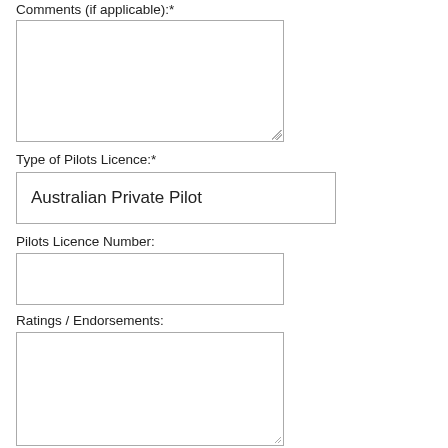Comments (if applicable):*
[Figure (other): Empty textarea input box for comments]
Type of Pilots Licence:*
Australian Private Pilot
Pilots Licence Number:
[Figure (other): Empty text input box for pilots licence number]
Ratings / Endorsements:
[Figure (other): Empty textarea input box for ratings and endorsements]